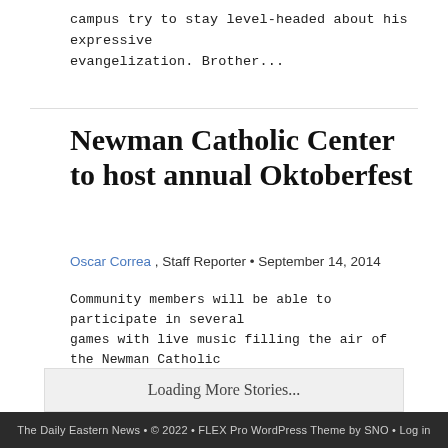campus try to stay level-headed about his expressive evangelization. Brother...
Newman Catholic Center to host annual Oktoberfest
Oscar Correa , Staff Reporter • September 14, 2014
Community members will be able to participate in several games with live music filling the air of the Newman Catholic Center grounds for their fourth annual St. Hedwig's Oktoberfest Sept. 21 from noon...
Loading More Stories...
The Daily Eastern News • © 2022 • FLEX Pro WordPress Theme by SNO • Log in